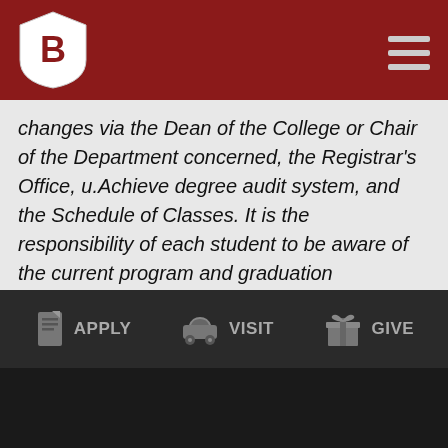Benedictine University header with logo and navigation menu
changes via the Dean of the College or Chair of the Department concerned, the Registrar's Office, u.Achieve degree audit system, and the Schedule of Classes. It is the responsibility of each student to be aware of the current program and graduation requirements for particular degree programs.
APPLY   VISIT   GIVE